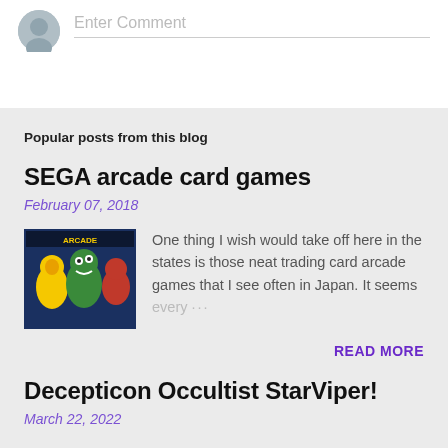Enter Comment
Popular posts from this blog
SEGA arcade card games
February 07, 2018
[Figure (photo): Colorful SEGA arcade card game promotional image with cartoon characters]
One thing I wish would take off here in the states is those neat trading card arcade games that I see often in Japan. It seems every …
READ MORE
Decepticon Occultist StarViper!
March 22, 2022